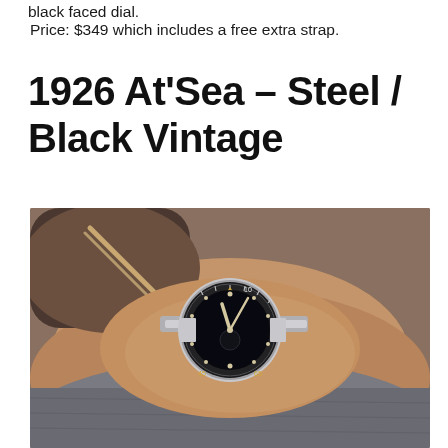black faced dial.
Price: $349 which includes a free extra strap.
1926 At'Sea – Steel / Black Vintage
[Figure (photo): A steel dive watch with black vintage dial worn on a man's wrist, with eyeglasses visible in the background. The watch features a rotating bezel, dot hour markers, and gold-toned hands on a black dial.]